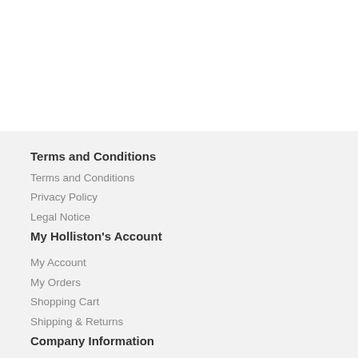Terms and Conditions
Terms and Conditions
Privacy Policy
Legal Notice
My Holliston's Account
My Account
My Orders
Shopping Cart
Shipping & Returns
Company Information
Contact Us